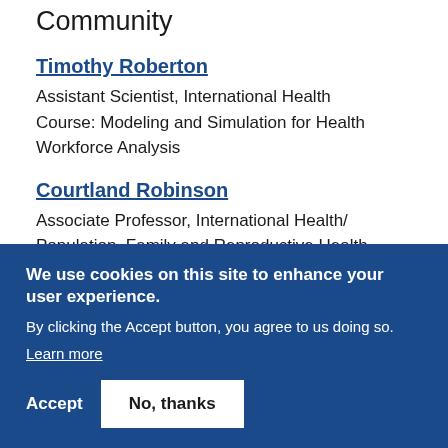Community
Timothy Roberton
Assistant Scientist, International Health
Course: Modeling and Simulation for Health Workforce Analysis
Courtland Robinson
Associate Professor, International Health/ Population, Family and Reproductive Health
We use cookies on this site to enhance your user experience.
By clicking the Accept button, you agree to us doing so.
Learn more